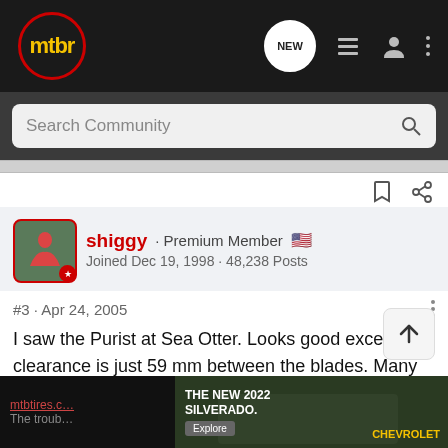mtbr · NEW · [nav icons]
Search Community
shiggy · Premium Member 🇺🇸
Joined Dec 19, 1998 · 48,238 Posts
#3 · Apr 24, 2005
I saw the Purist at Sea Otter. Looks good except clearance is just 59 mm between the blades. Many 2.3" + and some 2.1-2.2" tires will not fit.
[Figure (screenshot): Advertisement for The New 2022 Silverado by Chevrolet with an Explore button, shown at the bottom of the page.]